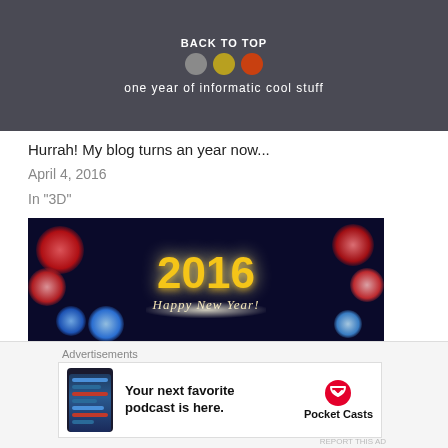[Figure (screenshot): Blog header image with dark background, 'BACK TO TOP' text, colored circles, and text 'one year of informatic cool stuff']
Hurrah! My blog turns an year now...
April 4, 2016
In "3D"
[Figure (photo): 2016 Happy New Year fireworks image with large golden '2016' text and colorful fireworks on dark background]
Advertisements
[Figure (screenshot): Pocket Casts advertisement: 'Your next favorite podcast is here.' with Pocket Casts logo]